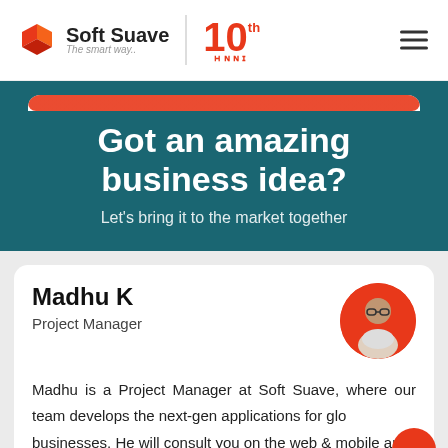[Figure (logo): Soft Suave logo with cube icon, tagline 'The smart way..', and 10th anniversary badge in orange]
Got an amazing business idea?
Let's bring it to the market together
Madhu K
Project Manager
Madhu is a Project Manager at Soft Suave, where our team develops the next-gen applications for global businesses. He will consult you on the web & mobile app